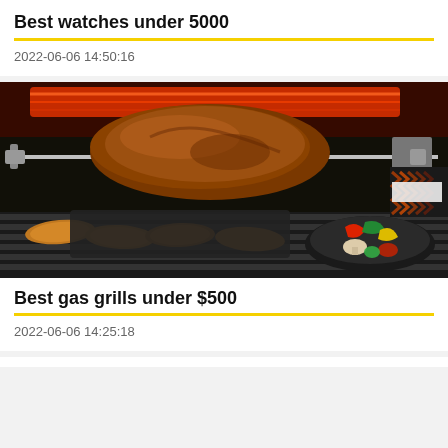Best watches under 5000
2022-06-06 14:50:16
[Figure (photo): A rotisserie with a large roast on a spit over a gas grill, with sausages and a bowl of vegetables below]
Best gas grills under $500
2022-06-06 14:25:18